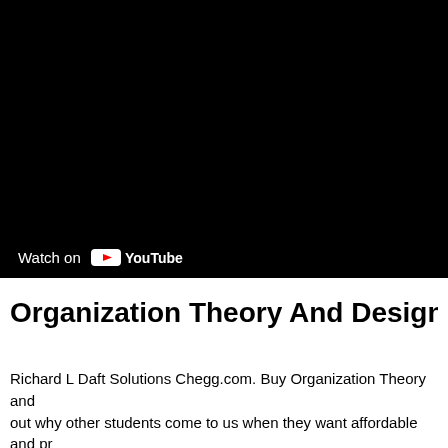[Figure (screenshot): Black video thumbnail with a YouTube 'Watch on YouTube' badge in the lower-left corner]
Organization Theory And Design 11th E...
Richard L Daft Solutions Chegg.com. Buy Organization Theory and ... out why other students come to us when they want affordable and pr... best prices., DAFT ORGANIZATION THEORY AND DESIGN 11T... Daft Organization Theory And Design 11th Edition pdf. Ebooks Daf...